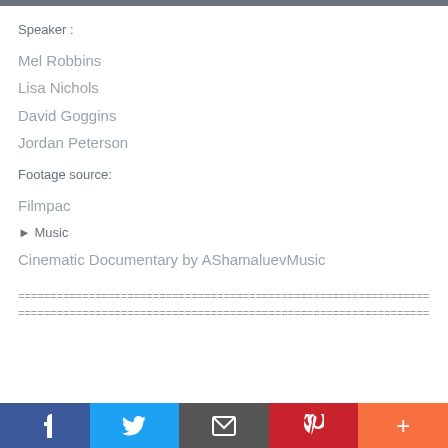Speaker :
Mel Robbins
Lisa Nichols
David Goggins
Jordan Peterson
Footage source:
Filmpac
► Music
Cinematic Documentary by AShamaluevMusic
================================================================
================================================================
f  t  [email]  p  +